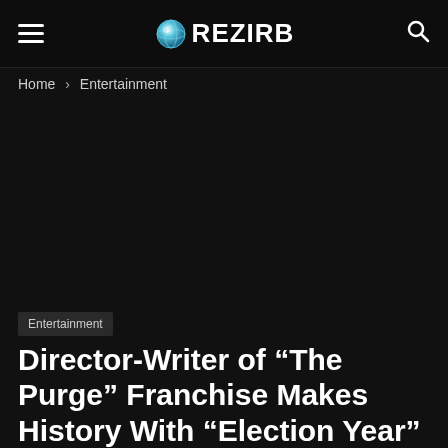REZIRB
Home › Entertainment
[Figure (other): Dark/black image area placeholder for article hero image]
Entertainment
Director-Writer of “The Purge” Franchise Makes History With “Election Year”